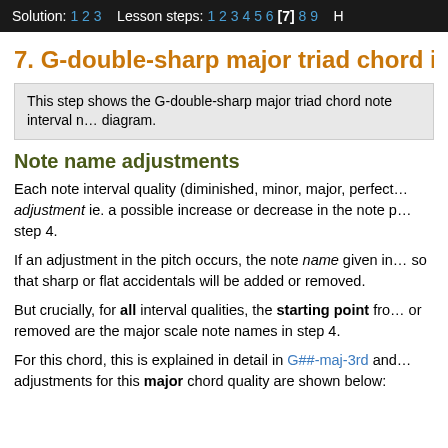Solution: 1 2 3   Lesson steps: 1 2 3 4 5 6 [7] 8 9   H
7. G-double-sharp major triad chord in r
This step shows the G-double-sharp major triad chord note interval n… diagram.
Note name adjustments
Each note interval quality (diminished, minor, major, perfect… adjustment ie. a possible increase or decrease in the note p… step 4.
If an adjustment in the pitch occurs, the note name given in… so that sharp or flat accidentals will be added or removed.
But crucially, for all interval qualities, the starting point fro… or removed are the major scale note names in step 4.
For this chord, this is explained in detail in G##-maj-3rd and… adjustments for this major chord quality are shown below: